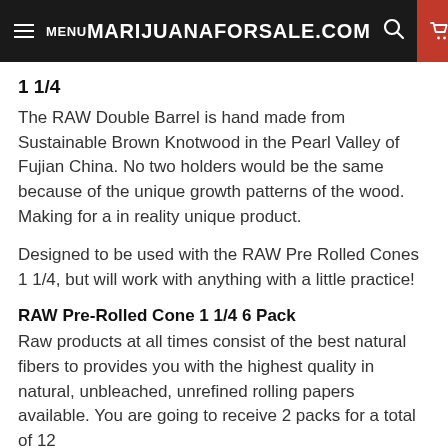MENU  MARIJUANAFORSALE.COM  0
1 1/4
The RAW Double Barrel is hand made from Sustainable Brown Knotwood in the Pearl Valley of Fujian China. No two holders would be the same because of the unique growth patterns of the wood. Making for a in reality unique product.
Designed to be used with the RAW Pre Rolled Cones 1 1/4, but will work with anything with a little practice!
RAW Pre-Rolled Cone 1 1/4 6 Pack
Raw products at all times consist of the best natural fibers to provides you with the highest quality in natural, unbleached, unrefined rolling papers available. You are going to receive 2 packs for a total of 12